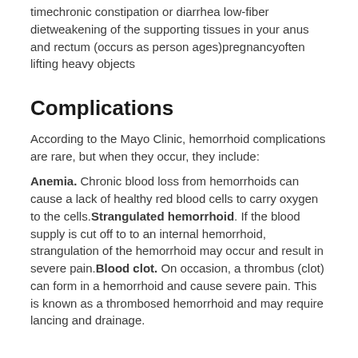timechronic constipation or diarrhea low-fiber dietweakening of the supporting tissues in your anus and rectum (occurs as person ages)pregnancyoften lifting heavy objects
Complications
According to the Mayo Clinic, hemorrhoid complications are rare, but when they occur, they include:
Anemia. Chronic blood loss from hemorrhoids can cause a lack of healthy red blood cells to carry oxygen to the cells.Strangulated hemorrhoid. If the blood supply is cut off to to an internal hemorrhoid, strangulation of the hemorrhoid may occur and result in severe pain.Blood clot. On occasion, a thrombus (clot) can form in a hemorrhoid and cause severe pain. This is known as a thrombosed hemorrhoid and may require lancing and drainage.